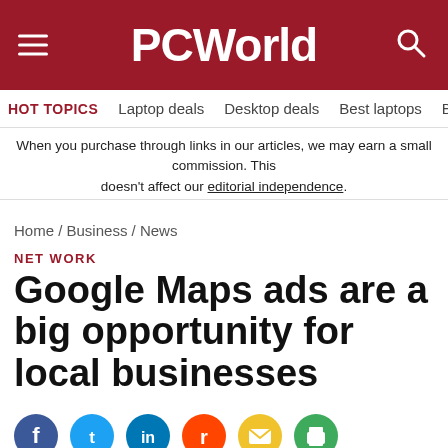PCWorld
HOT TOPICS   Laptop deals   Desktop deals   Best laptops   Best ch
When you purchase through links in our articles, we may earn a small commission. This doesn't affect our editorial independence.
Home / Business / News
NET WORK
Google Maps ads are a big opportunity for local businesses
[Figure (infographic): Social share icons: Facebook (blue), Twitter (light blue), LinkedIn (blue), Reddit (orange), Email (yellow), Print (green)]